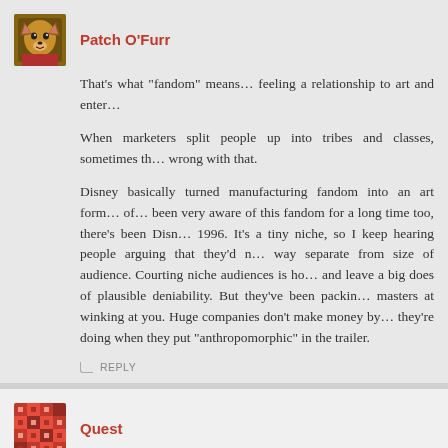Patch O'Furr
That's what "fandom" means… feeling a relationship to art and enter…
When marketers split people up into tribes and classes, sometimes th… wrong with that.
Disney basically turned manufacturing fandom into an art form… of… been very aware of this fandom for a long time too, there's been Disn… 1996. It's a tiny niche, so I keep hearing people arguing that they'd n… way separate from size of audience. Courting niche audiences is ho… and leave a big does of plausible deniability. But they've been packin… masters at winking at you. Huge companies don't make money by… they're doing when they put "anthropomorphic" in the trailer.
REPLY
Quest
That's so true,pach o'fur,and it's started for me at a early age,my first… the furry fandom,or anthrocon,and than i got into the furry fandom,an…